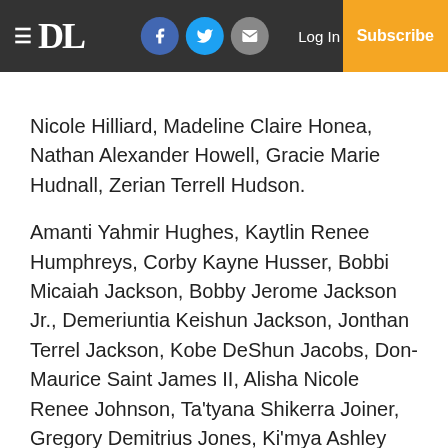DL — Log In — Subscribe (newspaper website header)
Nicole Hilliard, Madeline Claire Honea, Nathan Alexander Howell, Gracie Marie Hudnall, Zerian Terrell Hudson.
Amanti Yahmir Hughes, Kaytlin Renee Humphreys, Corby Kayne Husser, Bobbi Micaiah Jackson, Bobby Jerome Jackson Jr., Demeriuntia Keishun Jackson, Jonthan Terrel Jackson, Kobe DeShun Jacobs, Don-Maurice Saint James II, Alisha Nicole Renee Johnson, Ta'tyana Shikerra Joiner, Gregory Demitrius Jones, Ki'mya Ashley Jones, Zaevian Grantt Jones, Zoryannah Briette Jones, Collin Jeffrey Kellum, Javian